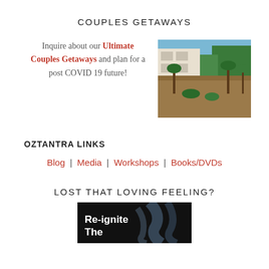COUPLES GETAWAYS
Inquire about our Ultimate Couples Getaways and plan for a post COVID 19 future!
[Figure (photo): Aerial view of a tropical resort with a pool, palm trees, and modern buildings]
OZTANTRA LINKS
Blog | Media | Workshops | Books/DVDs
LOST THAT LOVING FEELING?
[Figure (photo): Dark promotional image with white bold text reading 'Re-ignite The...' with smoke/abstract imagery]